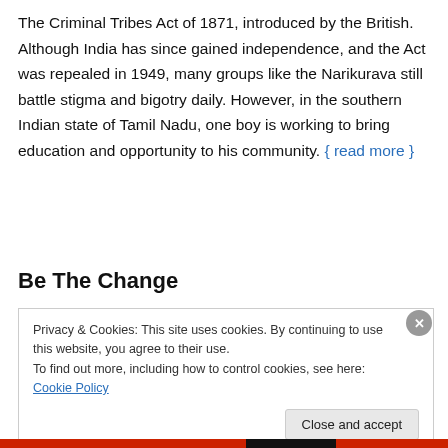The Criminal Tribes Act of 1871, introduced by the British. Although India has since gained independence, and the Act was repealed in 1949, many groups like the Narikurava still battle stigma and bigotry daily. However, in the southern Indian state of Tamil Nadu, one boy is working to bring education and opportunity to his community. { read more }
Be The Change
Privacy & Cookies: This site uses cookies. By continuing to use this website, you agree to their use. To find out more, including how to control cookies, see here: Cookie Policy